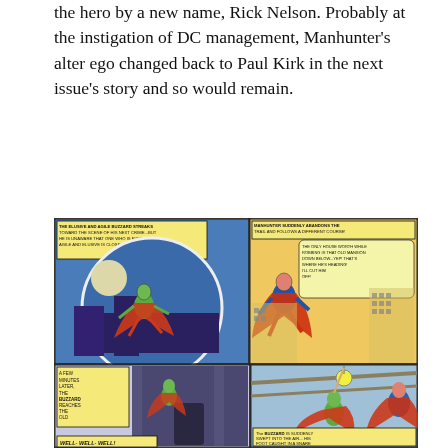the hero by a new name, Rick Nelson. Probably at the instigation of DC management, Manhunter's alter ego changed back to Paul Kirk in the next issue's story and so would remain.
[Figure (illustration): Comic book page panels showing Manhunter (in red and blue costume) and the Buzzard (in green villain costume). Top left panel: caption 'The elusive and agile Buzzard streaks toward the scene of his next crime...but he is unaware that one who is even more agile and elusive is close on his tracks!' showing Buzzard leaping across rooftops at night. Top right panel: caption 'Manhunter suddenly abandons the trail and follows a different course!' with speech bubble 'The only house worthwhile robbing is that old mansion down below...Yep! That's where he's heading! I'll cut him off!' showing Manhunter in pursuit. Bottom left panel: caption 'A few minutes later, the Buzzard reaches the old mansion and cautiously enters its gloomy interior' showing Buzzard entering a dark mansion. Bottom right panel showing Manhunter capturing Buzzard with a snare rope, caption 'The Buzzard is suddenly swept into the air... His foot caught in a snare set by Manhunter'. Lower edge shows partial speech bubble 'Well- Well- Well!']